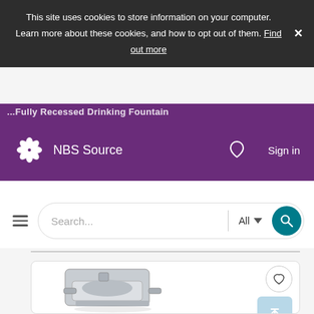This site uses cookies to store information on your computer. Learn more about these cookies, and how to opt out of them. Find out more
... Fully Recessed Drinking Fountain
[Figure (logo): NBS Source logo — white flower/petals icon and NBS Source wordmark on purple background with heart icon and Sign in link]
[Figure (screenshot): Search bar with hamburger menu, text input showing 'Search...', All category dropdown, and teal search button]
[Figure (photo): Stainless steel wall-mounted drinking fountain / water cooler product image with favourite heart icon and upload arrow button]